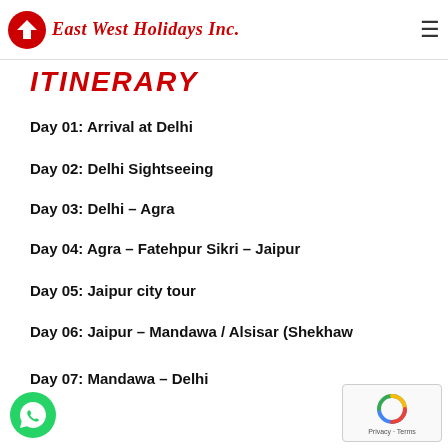East West Holidays Inc.
ITINERARY
Day 01: Arrival at Delhi
Day 02: Delhi Sightseeing
Day 03: Delhi – Agra
Day 04: Agra – Fatehpur Sikri – Jaipur
Day 05: Jaipur city tour
Day 06: Jaipur – Mandawa / Alsisar (Shekhaw...
Day 07: Mandawa – Delhi